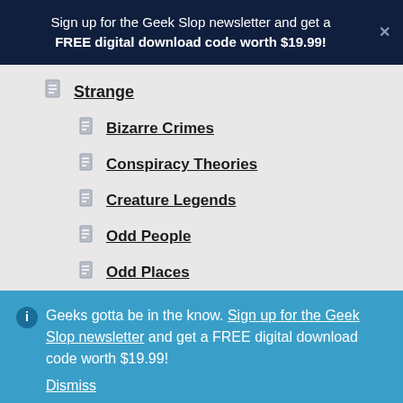Sign up for the Geek Slop newsletter and get a FREE digital download code worth $19.99!
Strange
Bizarre Crimes
Conspiracy Theories
Creature Legends
Odd People
Odd Places
Geeks gotta be in the know. Sign up for the Geek Slop newsletter and get a FREE digital download code worth $19.99! Dismiss
user icon | search icon | cart (0) | search bar